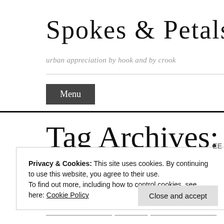Spokes & Petals
urban appreciation by hook and by crook
Menu
Tag Archives: Wintersweet
Privacy & Cookies: This site uses cookies. By continuing to use this website, you agree to their use.
To find out more, including how to control cookies, see here: Cookie Policy
Close and accept